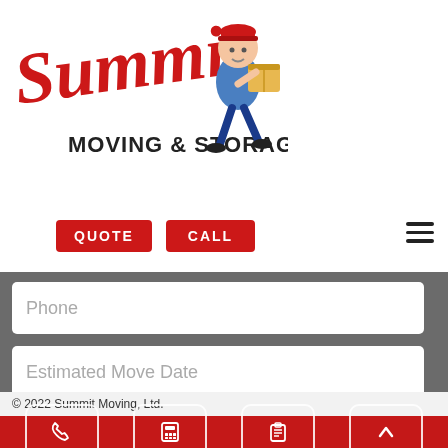[Figure (logo): Summit Moving & Storage logo with red script text and cartoon mover character carrying a box]
QUOTE
CALL
Phone
Estimated Move Date
SUBMIT
© 2022 Summit Moving, Ltd.